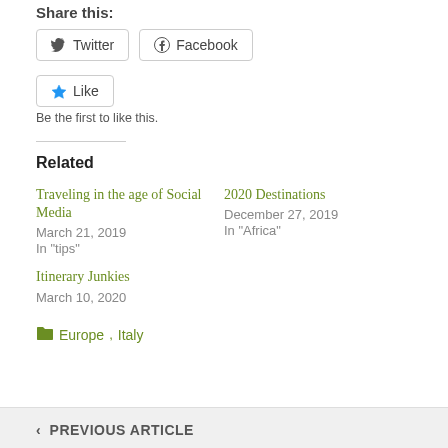Share this:
Twitter  Facebook
Like  Be the first to like this.
Related
Traveling in the age of Social Media
March 21, 2019
In "tips"
2020 Destinations
December 27, 2019
In "Africa"
Itinerary Junkies
March 10, 2020
Europe, Italy
PREVIOUS ARTICLE